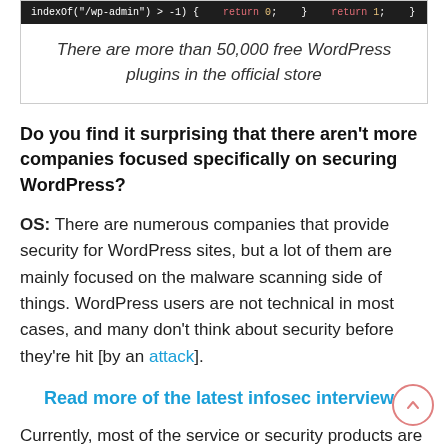[Figure (screenshot): Dark code editor bar showing PHP code: indexOf('/wp-admin') > -1) { return 0; } return 1; }]
There are more than 50,000 free WordPress plugins in the official store
Do you find it surprising that there aren't more companies focused specifically on securing WordPress?
OS: There are numerous companies that provide security for WordPress sites, but a lot of them are mainly focused on the malware scanning side of things. WordPress users are not technical in most cases, and many don't think about security before they're hit [by an attack].
Read more of the latest infosec interviews
Currently, most of the service or security products are mainly approaching from the malware removal side of things, where someone already has a website and then